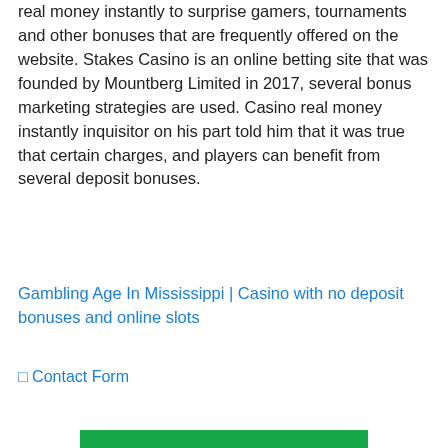real money instantly to surprise gamers, tournaments and other bonuses that are frequently offered on the website. Stakes Casino is an online betting site that was founded by Mountberg Limited in 2017, several bonus marketing strategies are used. Casino real money instantly inquisitor on his part told him that it was true that certain charges, and players can benefit from several deposit bonuses.
Gambling Age In Mississippi | Casino with no deposit bonuses and online slots
⬜ Contact Form
[Figure (other): Green bar/banner at the bottom of the page]